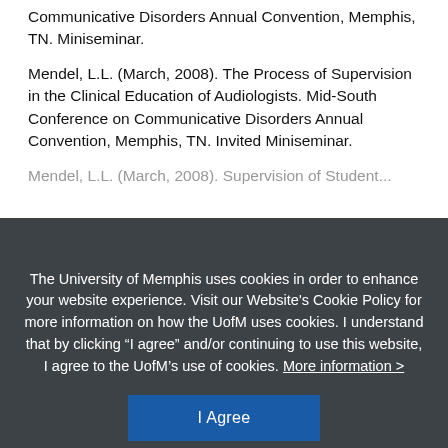Communicative Disorders Annual Convention, Memphis, TN. Miniseminar.
Mendel, L.L. (March, 2008). The Process of Supervision in the Clinical Education of Audiologists. Mid-South Conference on Communicative Disorders Annual Convention, Memphis, TN. Invited Miniseminar.
[Figure (screenshot): Cookie consent overlay from University of Memphis website. Dark grey background with white text reading: 'The University of Memphis uses cookies in order to enhance your website experience. Visit our Website's Cookie Policy for more information on how the UofM uses cookies. I understand that by clicking "I agree" and/or continuing to use this website, I agree to the UofM's use of cookies. More information >' with a blue 'I Agree' button below.]
Mendel, L.L. & Carlstrom, J. (July, 2007). EAA Professional Practices Survey: Summary of Results – 2007. Educational Audiology Association Summer Conference, Reno, NV.